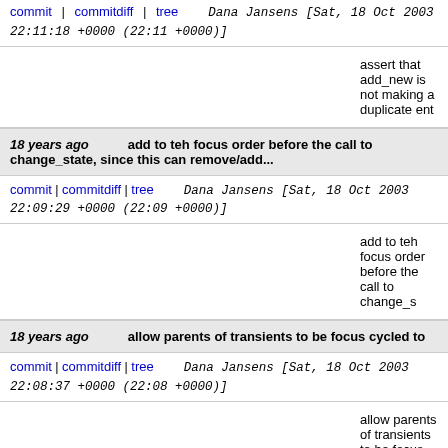commit | commitdiff | tree   Dana Jansens [Sat, 18 Oct 2003 22:11:18 +0000 (22:11 +0000)]
assert that add_new is not making a duplicate ent
18 years ago   add to teh focus order before the call to change_state, since this can remove/add...
commit | commitdiff | tree   Dana Jansens [Sat, 18 Oct 2003 22:09:29 +0000 (22:09 +0000)]
add to teh focus order before the call to change_s
18 years ago   allow parents of transients to be focus cycled to
commit | commitdiff | tree   Dana Jansens [Sat, 18 Oct 2003 22:08:37 +0000 (22:08 +0000)]
allow parents of transients to be focus cycled to
18 years ago   make the all desktops thinger get disabled too
commit | commitdiff | tree   Dana Jansens [Fri, 17 Oct 2003 06:27:14 +0000 (06:27 +0000)]
make the all desktops thinger get disabled too